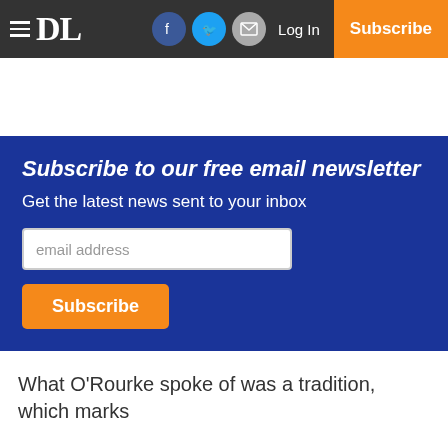≡ DL | Log In | Subscribe
Subscribe to our free email newsletter
Get the latest news sent to your inbox
email address
Subscribe
What O'Rourke spoke of was a tradition, which marks